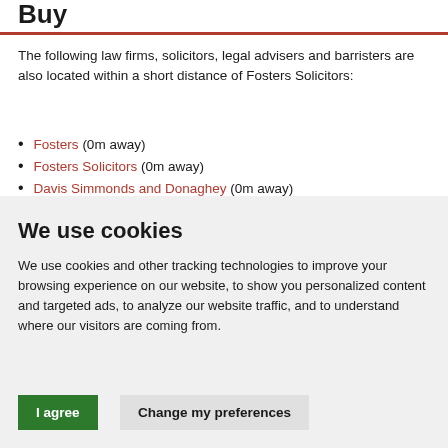Buy
The following law firms, solicitors, legal advisers and barristers are also located within a short distance of Fosters Solicitors:
Fosters (0m away)
Fosters Solicitors (0m away)
Davis Simmonds and Donaghey (0m away)
We use cookies
We use cookies and other tracking technologies to improve your browsing experience on our website, to show you personalized content and targeted ads, to analyze our website traffic, and to understand where our visitors are coming from.
I agree
Change my preferences